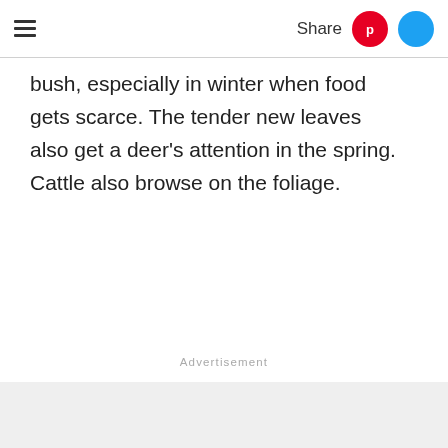☰  Share
bush, especially in winter when food gets scarce. The tender new leaves also get a deer's attention in the spring. Cattle also browse on the foliage.
Advertisement